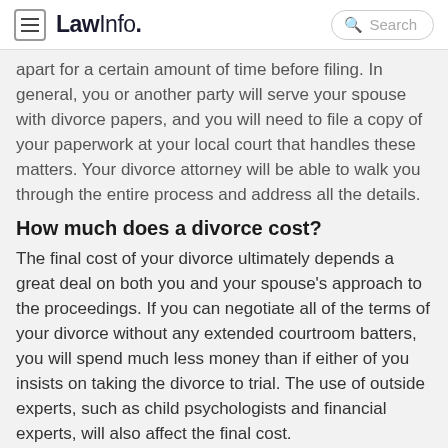LawInfo. Search
apart for a certain amount of time before filing. In general, you or another party will serve your spouse with divorce papers, and you will need to file a copy of your paperwork at your local court that handles these matters. Your divorce attorney will be able to walk you through the entire process and address all the details.
How much does a divorce cost?
The final cost of your divorce ultimately depends a great deal on both you and your spouse's approach to the proceedings. If you can negotiate all of the terms of your divorce without any extended courtroom batters, you will spend much less money than if either of you insists on taking the divorce to trial. The use of outside experts, such as child psychologists and financial experts, will also affect the final cost.
How long does a divorce take?